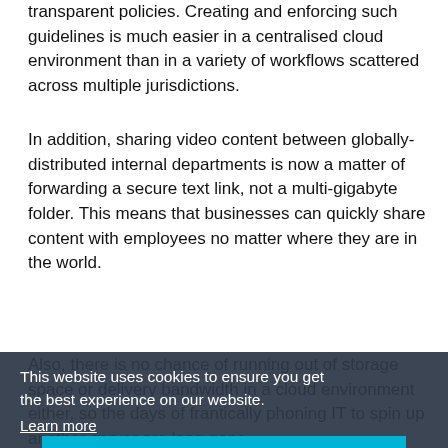transparent policies. Creating and enforcing such guidelines is much easier in a centralised cloud environment than in a variety of workflows scattered across multiple jurisdictions.
In addition, sharing video content between globally-distributed internal departments is now a matter of forwarding a secure text link, not a multi-gigabyte folder. This means that businesses can quickly share content with employees no matter where they are in the world.
Also, there is no chance of running out of storage space or delivery bandwidth in a cloud environment either, so the days of frantically phoning IT to spin up another server are long gone.
As more businesses identify the benefits of cloud services, particularly in terms of media management, we will see its adoption continue to increase with 83% of enterprise workloads expected to be in the cloud by
[Figure (screenshot): Cookie consent banner overlay with dark semi-transparent background. Text reads: 'This website uses cookies to ensure you get the best experience on our website.' with a 'Learn more' link. Below is a cyan/teal 'Got it!' button.]